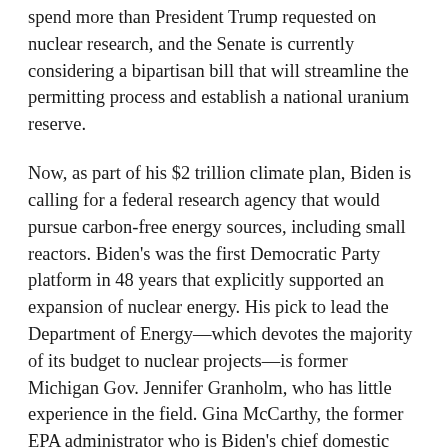spend more than President Trump requested on nuclear research, and the Senate is currently considering a bipartisan bill that will streamline the permitting process and establish a national uranium reserve.
Now, as part of his $2 trillion climate plan, Biden is calling for a federal research agency that would pursue carbon-free energy sources, including small reactors. Biden's was the first Democratic Party platform in 48 years that explicitly supported an expansion of nuclear energy. His pick to lead the Department of Energy—which devotes the majority of its budget to nuclear projects—is former Michigan Gov. Jennifer Granholm, who has little experience in the field. Gina McCarthy, the former EPA administrator who is Biden's chief domestic climate coordinator, has said that nuclear